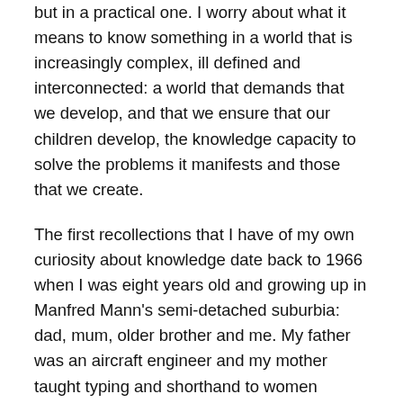but in a practical one. I worry about what it means to know something in a world that is increasingly complex, ill defined and interconnected: a world that demands that we develop, and that we ensure that our children develop, the knowledge capacity to solve the problems it manifests and those that we create.
The first recollections that I have of my own curiosity about knowledge date back to 1966 when I was eight years old and growing up in Manfred Mann's semi-detached suburbia: dad, mum, older brother and me. My father was an aircraft engineer and my mother taught typing and shorthand to women whose working lives were about to be dramatically changed by the word processing power of the digital computer. My brother was 3 years older than me, and his lack of interest in formal education was causing my parents some concern. Their reaction was to invest in